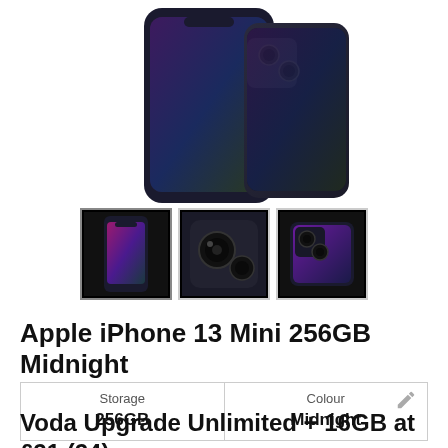[Figure (photo): Apple iPhone 13 Mini in Midnight color shown from front and side angles against white background]
[Figure (photo): Three thumbnail images of Apple iPhone 13 Mini: front view showing screen, rear camera closeup, and angled side/rear view]
Apple iPhone 13 Mini 256GB Midnight
| Storage | Colour |
| --- | --- |
| 256GB | Midnight |
Voda Upgrade Unlimited + 16GB at £21 (24)